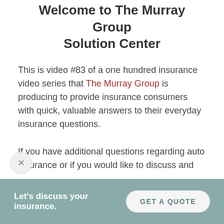Welcome to The Murray Group Solution Center
This is video #83 of a one hundred insurance video series that The Murray Group is producing to provide insurance consumers with quick, valuable answers to their everyday insurance questions.
If you have additional questions regarding auto insurance or if you would like to discuss and
Let's discuss your insurance.  GET A QUOTE